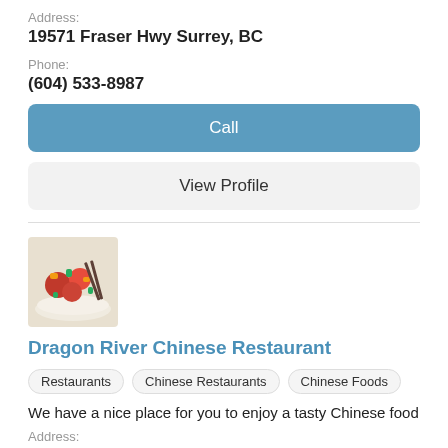Address:
19571 Fraser Hwy Surrey, BC
Phone:
(604) 533-8987
Call
View Profile
[Figure (photo): Photo of Chinese food dish in a bowl with vegetables and chopsticks]
Dragon River Chinese Restaurant
Restaurants
Chinese Restaurants
Chinese Foods
We have a nice place for you to enjoy a tasty Chinese food
Address:
D117 - 20159 88 Ave Langley, BC